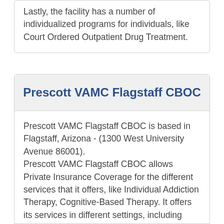Lastly, the facility has a number of individualized programs for individuals, like Court Ordered Outpatient Drug Treatment.
Prescott VAMC Flagstaff CBOC
Prescott VAMC Flagstaff CBOC is based in Flagstaff, Arizona - (1300 West University Avenue 86001).
Prescott VAMC Flagstaff CBOC allows Private Insurance Coverage for the different services that it offers, like Individual Addiction Therapy, Cognitive-Based Therapy. It offers its services in different settings, including